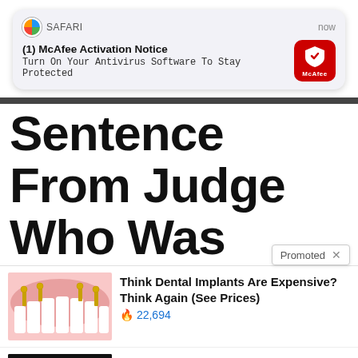[Figure (screenshot): Safari browser push notification from McAfee: '(1) McAfee Activation Notice — Turn On Your Antivirus Software To Stay Protected']
Sentence From Judge Who Was Selling Fentanyl As Cocaine
Promoted ×
[Figure (photo): Advertisement thumbnail: dental implants illustration showing lower jaw with white teeth and gold implant posts]
Think Dental Implants Are Expensive? Think Again (See Prices)
🔥 22,694
[Figure (photo): Advertisement thumbnail: photo of two people (man and woman), political figures, with play button overlay]
Democrats Want This Video Destroyed — Watch Now Before It's Banned
🔥 217,902